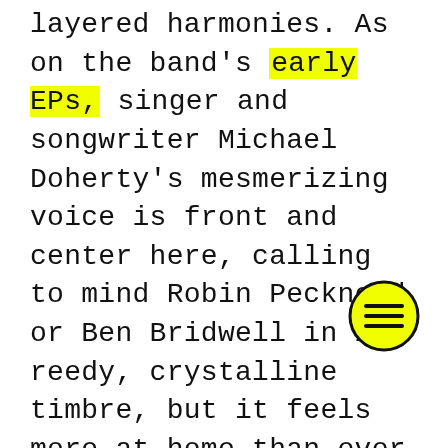layered harmonies. As on the band's early EPs, singer and songwriter Michael Doherty's mesmerizing voice is front and center here, calling to mind Robin Pecknold or Ben Bridwell in its reedy, crystalline timbre, but it feels more at home than ever before amidst the album's lush, Technicolor landscape, which the band partnered with producer and fellow housemate Scoops Dardaris to create. The result is a masterfully understated reco… that belies its status as a full-
[Figure (illustration): Yellow circle with a hamburger menu icon (three horizontal lines) drawn in dark ink, positioned at bottom right of the text block.]